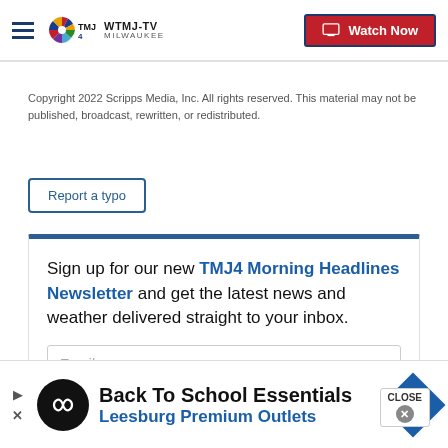WTMJ-TV MILWAUKEE — Watch Now
Copyright 2022 Scripps Media, Inc. All rights reserved. This material may not be published, broadcast, rewritten, or redistributed.
Report a typo
Sign up for our new TMJ4 Morning Headlines Newsletter and get the latest news and weather delivered straight to your inbox.
[Figure (screenshot): Ad banner: Back To School Essentials — Leesburg Premium Outlets]